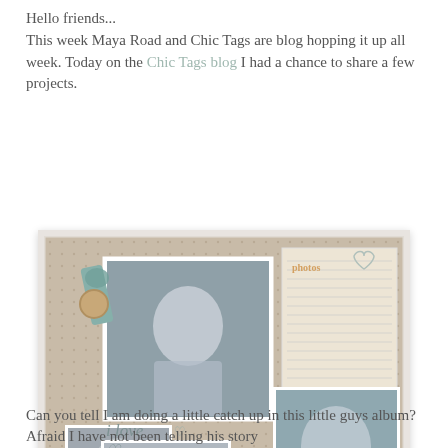Hello friends...
This week Maya Road and Chic Tags are blog hopping it up all week. Today on the Chic Tags blog I had a chance to share a few projects.
[Figure (photo): A scrapbook layout page on kraft cardboard background featuring multiple photos of a young child playing with toys. The layout includes calligraphic text reading 'i love you always & forever', decorative elements including teal/mint ribbon, chevron patterned paper, a heart doodle, a circular tag, and the watermark 'jmp' in the lower left corner.]
Can you tell I am doing a little catch up in this little guys album? Afraid I have not been telling his story